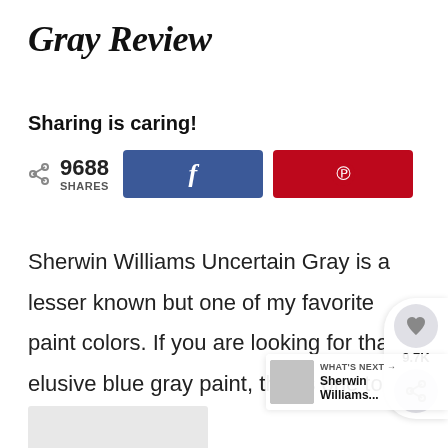Gray Review
Sharing is caring!
9688 SHARES [Facebook share button] [Pinterest share button]
Sherwin Williams Uncertain Gray is a lesser known but one of my favorite paint colors. If you are looking for that elusive blue gray paint, this is one to consider!